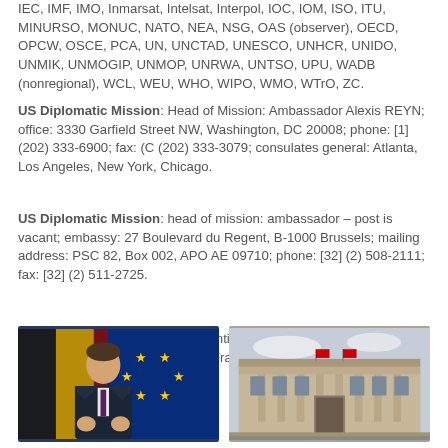IEC, IMF, IMO, Inmarsat, Intelsat, Interpol, IOC, IOM, ISO, ITU, MINURSO, MONUC, NATO, NEA, NSG, OAS (observer), OECD, OPCW, OSCE, PCA, UN, UNCTAD, UNESCO, UNHCR, UNIDO, UNMIK, UNMOGIP, UNMOP, UNRWA, UNTSO, UPU, WADB (nonregional), WCL, WEU, WHO, WIPO, WMO, WTrO, ZC.
US Diplomatic Mission: Head of Mission: Ambassador Alexis REYN; office: 3330 Garfield Street NW, Washington, DC 20008; phone: [1] (202) 333-6900; fax: (C (202) 333-3079; consulates general: Atlanta, Los Angeles, New York, Chicago.
US Diplomatic Mission: head of mission: ambassador – post is vacant; embassy: 27 Boulevard du Regent, B-1000 Brussels; mailing address: PSC 82, Box 002, APO AE 09710; phone: [32] (2) 508-2111; fax: [32] (2) 511-2725.
Description of the flag: three identical vertical stripes of black (hoist side), yellow and red; The flag of France served as a model.
[Figure (photo): Man in suit speaking in front of Belgian and EU flags]
[Figure (photo): Belgian parliament building exterior with neoclassical architecture]